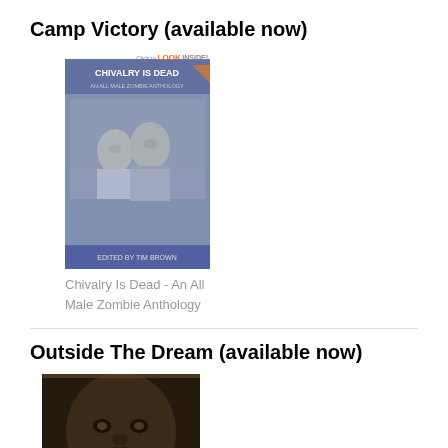Camp Victory (available now)
[Figure (photo): Book cover of 'Chivalry Is Dead - An All Male Zombie Anthology' showing zombie figures in formal attire with a 'Click to LOOK INSIDE!' badge]
Chivalry Is Dead - An All Male Zombie Anthology
Outside The Dream (available now)
[Figure (photo): Book cover of 'Outside The Dream' showing a dark sepia-toned close-up of a person's face with a hand covering their mouth]